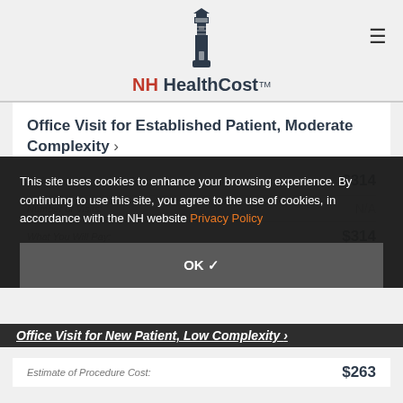NH HealthCost™
Office Visit for Established Patient, Moderate Complexity ›
Estimate of Procedure Cost: $314
Number of Visits: N/A
What You Will Pay: $314
This site uses cookies to enhance your browsing experience. By continuing to use this site, you agree to the use of cookies, in accordance with the NH website Privacy Policy
OK ✓
Office Visit for New Patient, Low Complexity ›
Estimate of Procedure Cost: $263